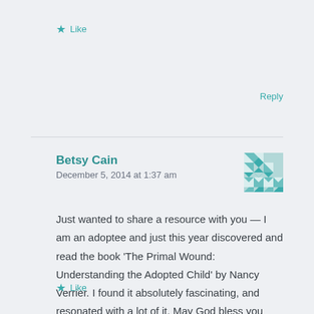★ Like
Reply
Betsy Cain
December 5, 2014 at 1:37 am
Just wanted to share a resource with you — I am an adoptee and just this year discovered and read the book 'The Primal Wound: Understanding the Adopted Child' by Nancy Verrier. I found it absolutely fascinating, and resonated with a lot of it. May God bless you and your family and give you strength as you follow and obey Him.
★ Like